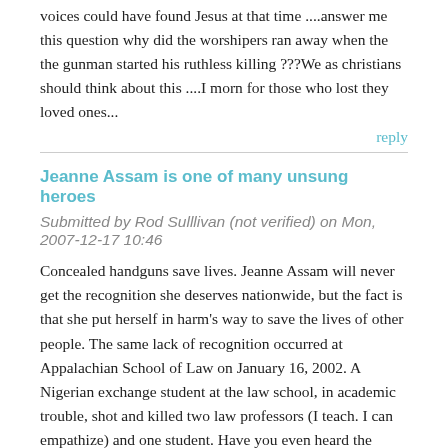voices could have found Jesus at that time ....answer me this question why did the worshipers ran away when the the gunman started his ruthless killing ???We as christians should think about this ....I morn for those who lost they loved ones...
reply
Jeanne Assam is one of many unsung heroes
Submitted by Rod Sulllivan (not verified) on Mon, 2007-12-17 10:46
Concealed handguns save lives. Jeanne Assam will never get the recognition she deserves nationwide, but the fact is that she put herself in harm's way to save the lives of other people. The same lack of recognition occurred at Appalachian School of Law on January 16, 2002. A Nigerian exchange student at the law school, in academic trouble, shot and killed two law professors (I teach. I can empathize) and one student. Have you even heard the names of Tracy Bridges, Mikael Gross, Ted Besen or Todd Ross? Probably not. Here is what they did: "...at the first sound of gunfire, fellow students Tracy Bridges and Mikael Gross, unbeknownst to each